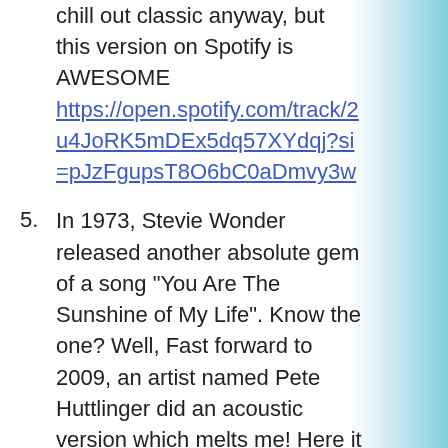chill out classic anyway, but this version on Spotify is AWESOME https://open.spotify.com/track/2u4JoRK5mDEx5dq57XYdqj?si=pJzFgupsT8O6bC0aDmvy3w
5. In 1973, Stevie Wonder released another absolute gem of a song "You Are The Sunshine of My Life". Know the one? Well, Fast forward to 2009, an artist named Pete Huttlinger did an acoustic version which melts me! Here it is: https://open.spotify.com/track/0tEJtzUvjJ3g3N2yT8Pk9P?si=npWXP0eDQ9i-tbLjnPOkng Which brings me to the next track on the same album...
6. ..."Isn't She Lovely". I urge you to